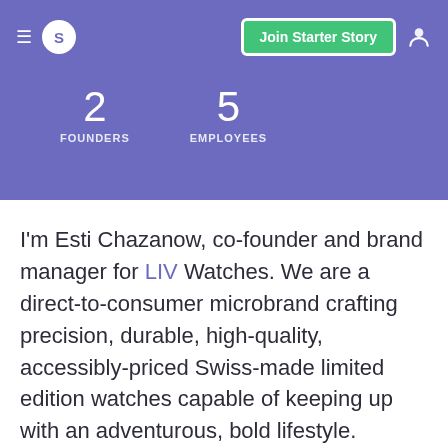S | Join Starter Story
2 FOUNDERS  5 EMPLOYEES
I'm Esti Chazanow, co-founder and brand manager for LIV Watches. We are a direct-to-consumer microbrand crafting precision, durable, high-quality, accessibly-priced Swiss-made limited edition watches capable of keeping up with an adventurous, bold lifestyle.